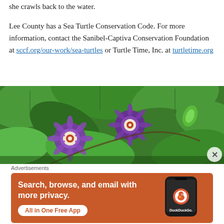she crawls back to the water.
Lee County has a Sea Turtle Conservation Code. For more information, contact the Sanibel-Captiva Conservation Foundation at sccf.org/our-work/sea-turtles or Turtle Time, Inc. at turtletime.org
[Figure (photo): Close-up photo of purple passionflower blooms amid large green tropical leaves]
Advertisements
[Figure (infographic): DuckDuckGo advertisement banner: Search, browse, and email with more privacy. All in One Free App. Shows a smartphone with DuckDuckGo logo.]